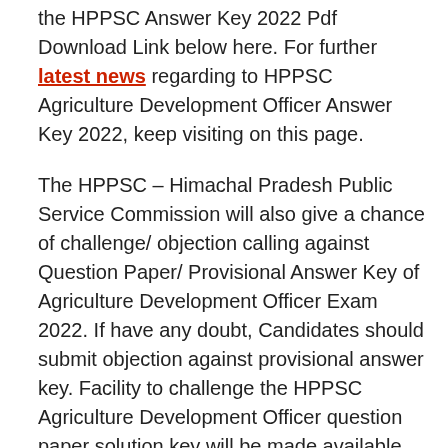the HPPSC Answer Key 2022 Pdf Download Link below here. For further latest news regarding to HPPSC Agriculture Development Officer Answer Key 2022, keep visiting on this page.
The HPPSC – Himachal Pradesh Public Service Commission will also give a chance of challenge/ objection calling against Question Paper/ Provisional Answer Key of Agriculture Development Officer Exam 2022. If have any doubt, Candidates should submit objection against provisional answer key. Facility to challenge the HPPSC Agriculture Development Officer question paper solution key will be made available online through the official website.
HPPSC Agriculture